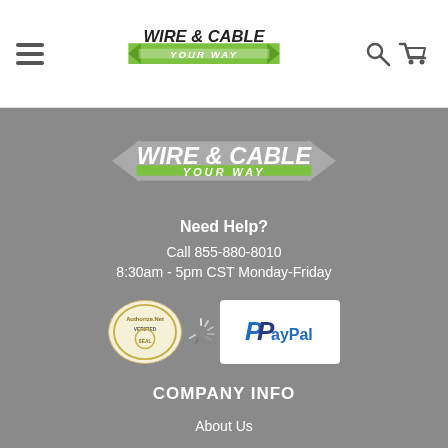[Figure (logo): Wire & Cable Your Way logo in navigation bar]
[Figure (logo): Wire & Cable Your Way large footer logo on grey background]
Need Help?
Call 855-880-8010
8:30am - 5pm CST Monday-Friday
[Figure (logo): Authorize.Net and PayPal payment badges]
COMPANY INFO
About Us
Frequently Asked Questions
Privacy Policy
Credit Application